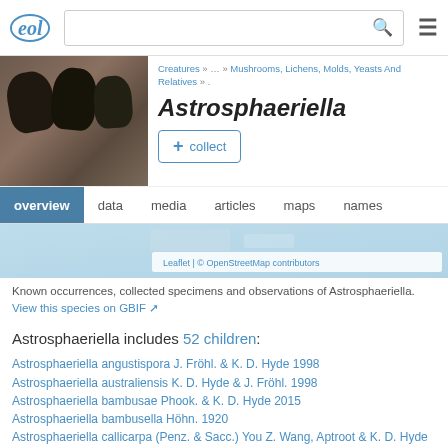EOL | [search box] | [menu icon]
[Figure (photo): Dark fungal fruiting bodies on wood background]
Creatures » … » Mushrooms, Lichens, Molds, Yeasts And Relatives » .
Astrosphaeriella
+ collect
overview | data | media | articles | maps | names
[Figure (map): Map showing known occurrences of Astrosphaeriella. Leaflet | © OpenStreetMap contributors]
Known occurrences, collected specimens and observations of Astrosphaeriella. View this species on GBIF
Astrosphaeriella includes 52 children:
Astrosphaeriella angustispora J. Fröhl. & K. D. Hyde 1998
Astrosphaeriella australiensis K. D. Hyde & J. Fröhl. 1998
Astrosphaeriella bambusae Phook. & K. D. Hyde 2015
Astrosphaeriella bambusella Höhn. 1920
Astrosphaeriella callicarpa (Penz. & Sacc.) You Z. Wang, Aptroot & K. D. Hyde 2004
Astrosphaeriella exorrhiza Boise 1986
Astrosphaeriella immersa Joanne E. Taylor, K. D. Hyde & E. B. G. Jones 2000